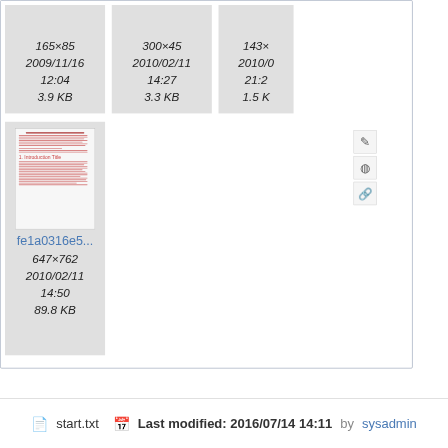[Figure (screenshot): File manager / media gallery grid showing thumbnail cards. Top row has two visible cards: first card shows metadata '165×85 / 2009/11/16 / 12:04 / 3.9 KB', second card shows '300×45 / 2010/02/11 / 14:27 / 3.3 KB', third card partially visible shows '143× / 2010/0 / 21:2 / 1.5 K'. Below is a larger card showing a document thumbnail preview of 'fe1a0316e5...' with metadata '647×762 / 2010/02/11 / 14:50 / 89.8 KB'. Side icons (edit, clock, link) shown on right.]
start.txt  Last modified: 2016/07/14 14:11  by sysadmin